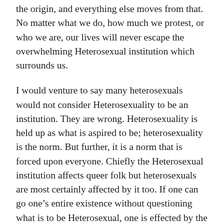the origin, and everything else moves from that. No matter what we do, how much we protest, or who we are, our lives will never escape the overwhelming Heterosexual institution which surrounds us.
I would venture to say many heterosexuals would not consider Heterosexuality to be an institution. They are wrong. Heterosexuality is held up as what is aspired to be; heterosexuality is the norm. But further, it is a norm that is forced upon everyone. Chiefly the Heterosexual institution affects queer folk but heterosexuals are most certainly affected by it too. If one can go one's entire existence without questioning what is to be Heterosexual, one is effected by the Heterosexual institution. A critique or commentary of the Heterosexual institution is not one of all people who claim the title heterosexual, but instead the ways in heterosexuality is forced…